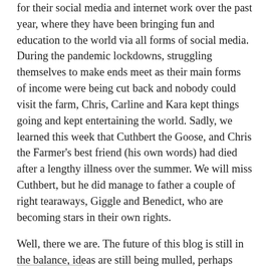for their social media and internet work over the past year, where they have been bringing fun and education to the world via all forms of social media. During the pandemic lockdowns, struggling themselves to make ends meet as their main forms of income were being cut back and nobody could visit the farm, Chris, Carline and Kara kept things going and kept entertaining the world. Sadly, we learned this week that Cuthbert the Goose, and Chris the Farmer's best friend (his own words) had died after a lengthy illness over the summer. We will miss Cuthbert, but he did manage to father a couple of right tearaways, Giggle and Benedict, who are becoming stars in their own rights.
Well, there we are. The future of this blog is still in the balance, ideas are still being mulled, perhaps something will happen before the year is out. Wherever you are, please look after yourselves, your families and friends, and stay safe.